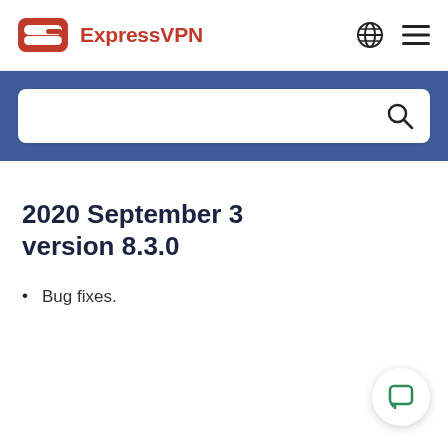ExpressVPN
[Figure (other): Blue search bar section with white rounded search input box and magnifying glass icon]
2020 September 3 version 8.3.0
Bug fixes.